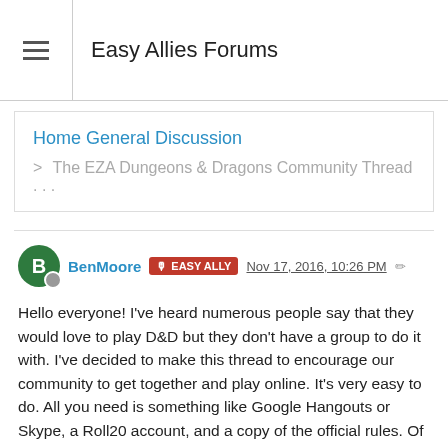Easy Allies Forums
Home General Discussion
> The EZA Dungeons & Dragons Community Thread . . .
BenMoore  EASY ALLY  Nov 17, 2016, 10:26 PM
Hello everyone! I've heard numerous people say that they would love to play D&D but they don't have a group to do it with. I've decided to make this thread to encourage our community to get together and play online. It's very easy to do. All you need is something like Google Hangouts or Skype, a Roll20 account, and a copy of the official rules. Of course, you don't have to play 5th edition D&D. You can play whatever tabletop game you want.
It would be great if we could have several groups going on at the same time. One for beginners, another for inexperienced players, etc. Because I'm already tied up with Patron D&D and TTF, I won't be